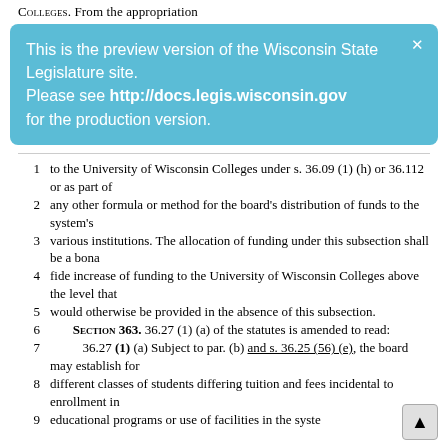Colleges. From the appropriation
This is the preview version of the Wisconsin State Legislature site. Please see http://docs.legis.wisconsin.gov for the production version.
1  to the University of Wisconsin Colleges under s. 36.09 (1) (h) or 36.112 or as part of
2  any other formula or method for the board's distribution of funds to the system's
3  various institutions. The allocation of funding under this subsection shall be a bona
4  fide increase of funding to the University of Wisconsin Colleges above the level that
5  would otherwise be provided in the absence of this subsection.
6  Section 363. 36.27 (1) (a) of the statutes is amended to read:
7  36.27 (1) (a) Subject to par. (b) and s. 36.25 (56) (e), the board may establish for
8  different classes of students differing tuition and fees incidental to enrollment in
9  educational programs or use of facilities in the system